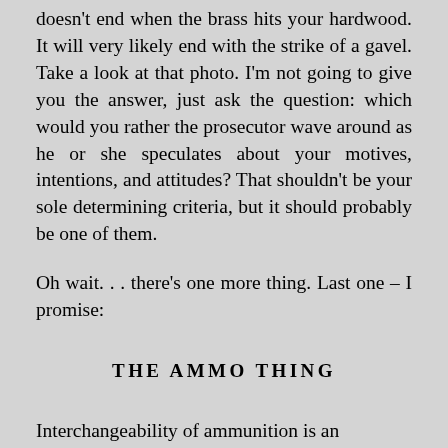doesn't end when the brass hits your hardwood. It will very likely end with the strike of a gavel. Take a look at that photo. I'm not going to give you the answer, just ask the question: which would you rather the prosecutor wave around as he or she speculates about your motives, intentions, and attitudes? That shouldn't be your sole determining criteria, but it should probably be one of them.
Oh wait. . . there's one more thing. Last one – I promise:
THE AMMO THING
Interchangeability of ammunition is an